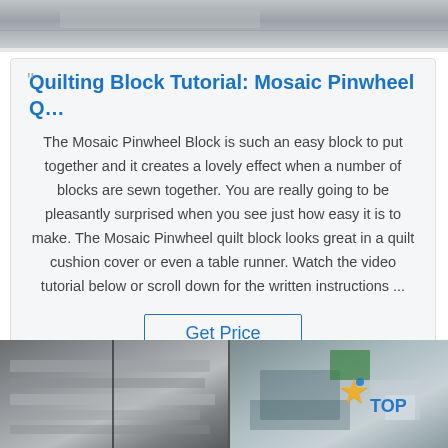[Figure (photo): Cropped top portion of a photo showing gray/silver textured surface, likely fabric or material]
Quilting Block Tutorial: Mosaic Pinwheel Q…
The Mosaic Pinwheel Block is such an easy block to put together and it creates a lovely effect when a number of blocks are sewn together. You are really going to be pleasantly surprised when you see just how easy it is to make. The Mosaic Pinwheel quilt block looks great in a quilt cushion cover or even a table runner. Watch the video tutorial below or scroll down for the written instructions ...
Get Price
[Figure (photo): Two side-by-side photos: left shows metallic/silver textured sheets or panels; right shows industrial machinery or workshop with a TOP logo overlay (star graphic + blue text 'TOP')]